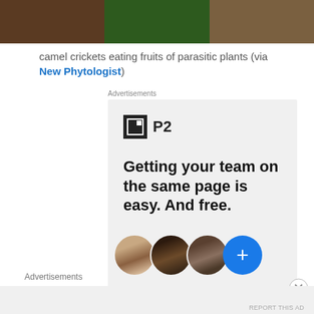[Figure (photo): Three side-by-side photos: soil/dirt, green ferns/plants, and dried leaves/nuts]
camel crickets eating fruits of parasitic plants (via New Phytologist)
Advertisements
[Figure (screenshot): P2 advertisement: logo with black square and 'P2' text, headline 'Getting your team on the same page is easy. And free.' with three profile photos and a blue plus button]
Advertisements
REPORT THIS AD